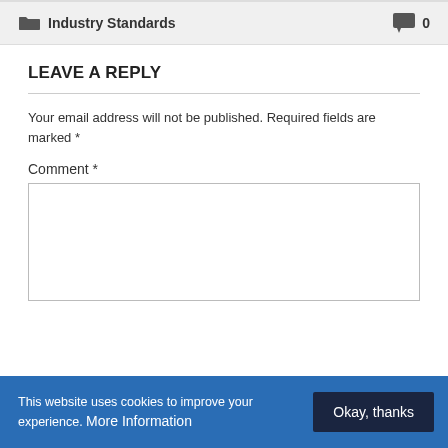Industry Standards  💬 0
LEAVE A REPLY
Your email address will not be published. Required fields are marked *
Comment *
This website uses cookies to improve your experience. More Information  Okay, thanks